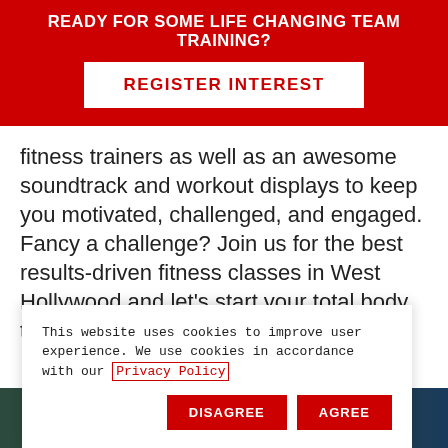READY FOR SOME LIFE CHANGING TEAM TRAINING?
REGISTER INTEREST
fitness trainers as well as an awesome soundtrack and workout displays to keep you motivated, challenged, and engaged. Fancy a challenge? Join us for the best results-driven fitness classes in West Hollywood and let's start your total body transformation together at F45.
This website uses cookies to improve user experience. We use cookies in accordance with our Privacy Policy
DISAGREE
AGREE